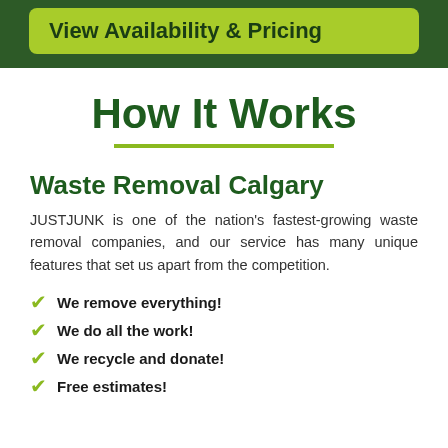View Availability & Pricing
How It Works
Waste Removal Calgary
JUSTJUNK is one of the nation's fastest-growing waste removal companies, and our service has many unique features that set us apart from the competition.
We remove everything!
We do all the work!
We recycle and donate!
Free estimates!